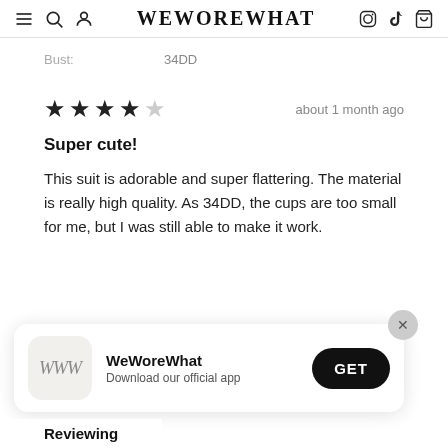WEWOREWHAT
Bust:   34DD
★★★★☆   about 1 month ago
Super cute!
This suit is adorable and super flattering. The material is really high quality. As 34DD, the cups are too small for me, but I was still able to make it work.
[Figure (screenshot): App download banner for WeWoreWhat app with WWW logo icon, text 'WeWoreWhat / Download our official app', a GET button, and an X close button]
Reviewing